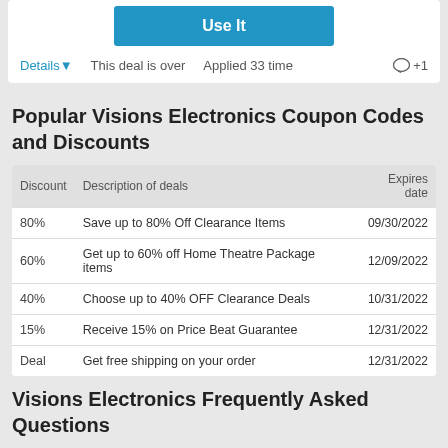Use It
Details▼   This deal is over   Applied 33 time   💬 +1
Popular Visions Electronics Coupon Codes and Discounts
| Discount | Description of deals | Expires date |
| --- | --- | --- |
| 80% | Save up to 80% Off Clearance Items | 09/30/2022 |
| 60% | Get up to 60% off Home Theatre Package items | 12/09/2022 |
| 40% | Choose up to 40% OFF Clearance Deals | 10/31/2022 |
| 15% | Receive 15% on Price Beat Guarantee | 12/31/2022 |
| Deal | Get free shipping on your order | 12/31/2022 |
Visions Electronics Frequently Asked Questions
What is the most profitable offer of